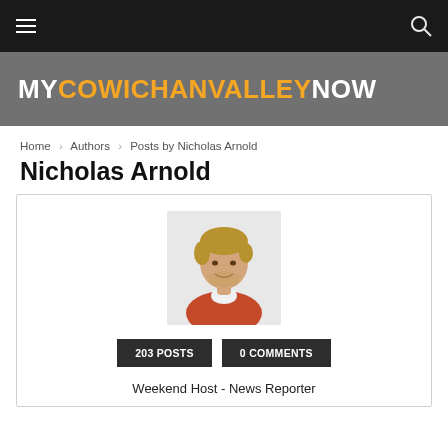MyCowichanValleyNow
Home › Authors › Posts by Nicholas Arnold
Nicholas Arnold
[Figure (photo): Headshot photo of Nicholas Arnold, a young man in a red/orange sweater with a white collar, smiling, against a light grey background.]
203 POSTS   0 COMMENTS
Weekend Host - News Reporter